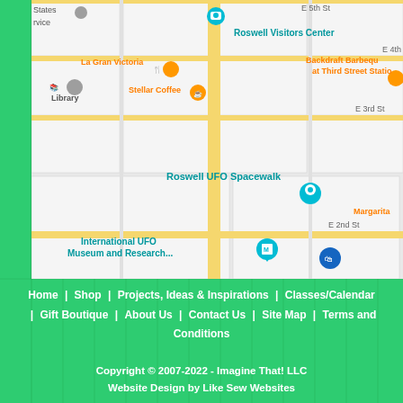[Figure (map): Google Maps screenshot showing streets around Roswell, NM including E 5th St, E 4th St, E 3rd St, E 2nd St. Notable landmarks labeled: Roswell Visitors Center, La Gran Victoria, Library, Stellar Coffee, Backdraft Barbeque at Third Street Station, Roswell UFO Spacewalk, Margarita, International UFO Museum and Research...]
Home | Shop | Projects, Ideas & Inspirations | Classes/Calendar | Gift Boutique | About Us | Contact Us | Site Map | Terms and Conditions
Copyright © 2007-2022 - Imagine That! LLC
Website Design by Like Sew Websites